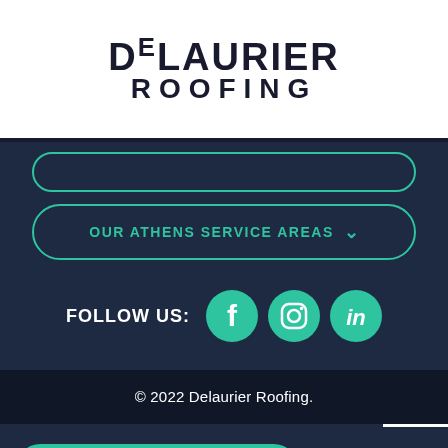[Figure (logo): DeLaurier Roofing company logo in black bold text on white background]
OUR ATHENS SERVICE AREAS ˅
FOLLOW US:
[Figure (illustration): Three social media icons: Facebook, Instagram, LinkedIn — all teal/green circular icons]
© 2022 Delaurier Roofing.
GET YOUR INSPECTION »